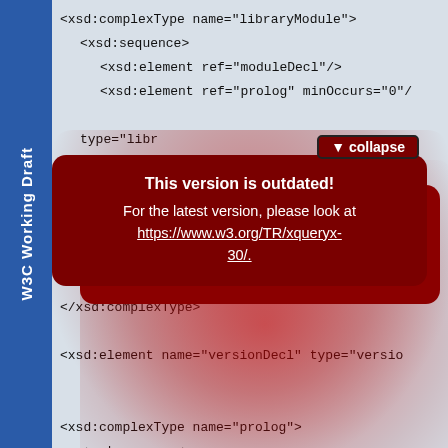W3C Working Draft
[Figure (screenshot): Screenshot of an XSD schema code block showing complexType and element definitions, with a red popup overlay saying 'This version is outdated! For the latest version, please look at https://www.w3.org/TR/xqueryx-30/.' and a collapse button.]
<xsd:complexType name="libraryModule">
  <xsd:sequence>
    <xsd:element ref="moduleDecl"/>
    <xsd:element ref="prolog" minOccurs="0"/
    ...
  </xsd:sequence>
</xsd:complexType>

<xsd:element name="versionDecl" type="versio

<xsd:complexType name="prolog">
  <xsd:sequence>
        <xsd:element ref="prologPartOneIte
        <xsd:element ref="prologPartTwoIte
      </xsd:sequence>
    </xsd:complexType>

<xsd:element name="prolog" type="prolog"/>